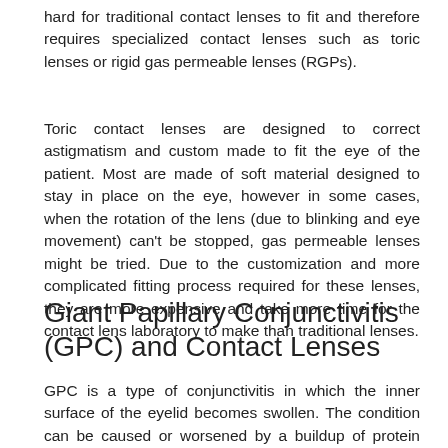hard for traditional contact lenses to fit and therefore requires specialized contact lenses such as toric lenses or rigid gas permeable lenses (RGPs).
Toric contact lenses are designed to correct astigmatism and custom made to fit the eye of the patient. Most are made of soft material designed to stay in place on the eye, however in some cases, when the rotation of the lens (due to blinking and eye movement) can't be stopped, gas permeable lenses might be tried. Due to the customization and more complicated fitting process required for these lenses, they are more expensive and take more time for the contact lens laboratory to make than traditional lenses.
Giant Papillary Conjunctivitis (GPC) and Contact Lenses
GPC is a type of conjunctivitis in which the inner surface of the eyelid becomes swollen. The condition can be caused or worsened by a buildup of protein deposits on contact lenses. Your eye doctor may either recommend daily disposable lenses or RGP lenses (which are not water based) and